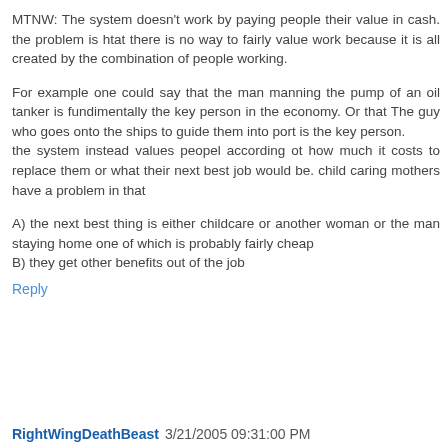MTNW: The system doesn't work by paying people their value in cash. the problem is htat there is no way to fairly value work because it is all created by the combination of people working.
For example one could say that the man manning the pump of an oil tanker is fundimentally the key person in the economy. Or that The guy who goes onto the ships to guide them into port is the key person.
the system instead values peopel according ot how much it costs to replace them or what their next best job would be. child caring mothers have a problem in that
A) the next best thing is either childcare or another woman or the man staying home one of which is probably fairly cheap
B) they get other benefits out of the job
Reply
RightWingDeathBeast 3/21/2005 09:31:00 PM